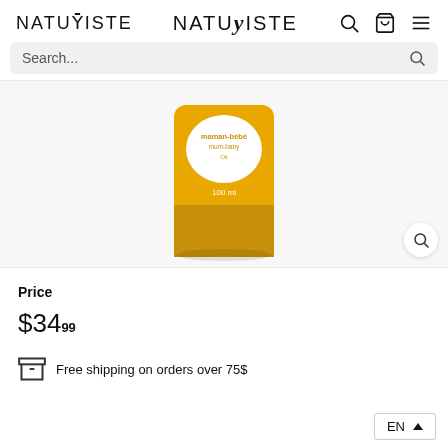NATURISTE
Search...
[Figure (photo): A golden/amber yellow product bottle (100ml) with a white circular label reading 'maman-bebe mum-baby Oil', partially cropped at top]
Price
$34.99
Free shipping on orders over 75$